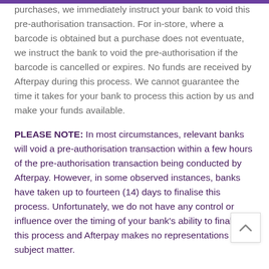purchases, we immediately instruct your bank to void this pre-authorisation transaction. For in-store, where a barcode is obtained but a purchase does not eventuate, we instruct the bank to void the pre-authorisation if the barcode is cancelled or expires. No funds are received by Afterpay during this process. We cannot guarantee the time it takes for your bank to process this action by us and make your funds available.
PLEASE NOTE: In most circumstances, relevant banks will void a pre-authorisation transaction within a few hours of the pre-authorisation transaction being conducted by Afterpay. However, in some observed instances, banks have taken up to fourteen (14) days to finalise this process. Unfortunately, we do not have any control or influence over the timing of your bank's ability to finalise this process and Afterpay makes no representations o subject matter.
Please read this Agreement carefully. By clicking to accept these